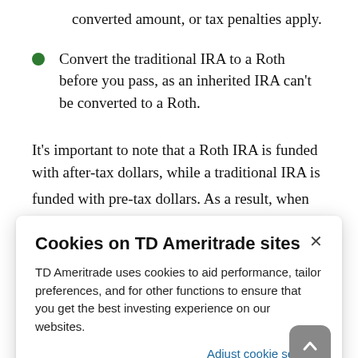converted amount, or tax penalties apply.
Convert the traditional IRA to a Roth before you pass, as an inherited IRA can't be converted to a Roth.
It's important to note that a Roth IRA is funded with after-tax dollars, while a traditional IRA is funded with pre-tax dollars. As a result, when you
Cookies on TD Ameritrade sites
TD Ameritrade uses cookies to aid performance, tailor preferences, and for other functions to ensure that you get the best investing experience on our websites.
Adjust cookie settings
Another consideration if you are a benefactor